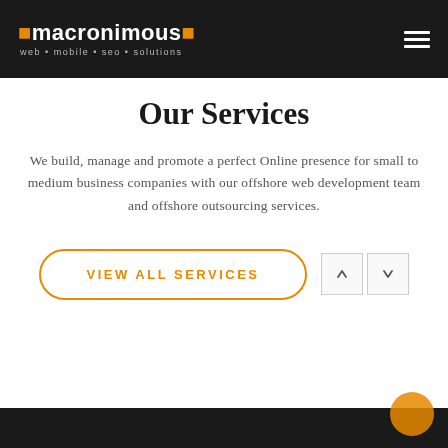macronimous: web · mobile · seo · solutions
Our Services
We build, manage and promote a perfect Online presence for small to medium business companies with our offshore web development team and offshore outsourcing services.
VIEW ALL SERVICES